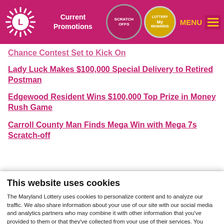Current Promotions | SCRATCH OFFS | My Rewards | MENU
Chance Contest Set to Kick On
Lady Luck Makes $100,000 Special Delivery to Retired Postman
Edgewood Resident Wins $100,000 Top Prize in Money Rush Game
Carroll County Man Finds Mega Win with Mega 7s Scratch-off
This website uses cookies
The Maryland Lottery uses cookies to personalize content and to analyze our traffic. We also share information about your use of our site with our social media and analytics partners who may combine it with other information that you've provided to them or that they've collected from your use of their services. You consent to our cookies if you continue to use our website.
Use necessary cookies only
Allow all cookies
Show details